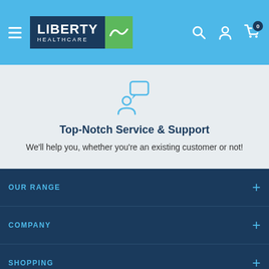[Figure (logo): Liberty Healthcare logo with dark navy text block and green square with tilde icon]
[Figure (illustration): Customer support icon: person silhouette with speech bubble]
Top-Notch Service & Support
We'll help you, whether you're an existing customer or not!
OUR RANGE
COMPANY
SHOPPING
STORE LOCATIONS